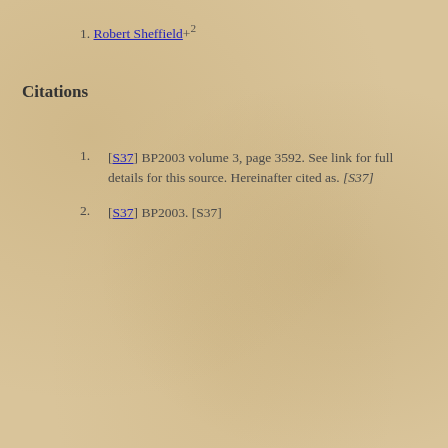Robert Sheffield +2
Citations
[S37] BP2003 volume 3, page 3592. See link for full details for this source. Hereinafter cited as. [S37]
[S37] BP2003. [S37]